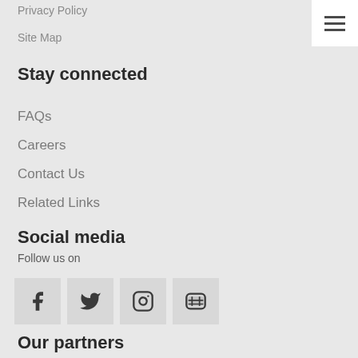Privacy Policy
Site Map
Stay connected
FAQs
Careers
Contact Us
Related Links
Social media
Follow us on
[Figure (infographic): Four social media icon buttons: Facebook, Twitter, Instagram, YouTube]
Our partners